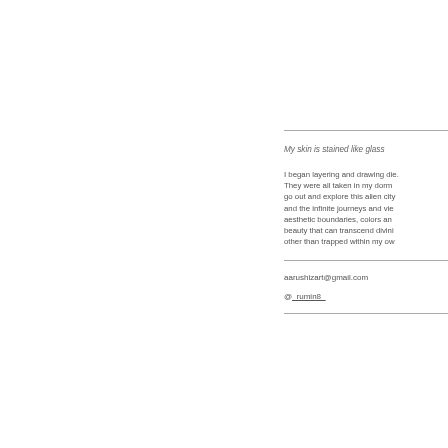My skin is stained like glass
I began layering and drawing die. They were all taken in my dorm go out and explore this alien city and the infinite journeys and vie aesthetic boundaries, colors and beauty that can transcend divini other than trapped within my ow
aarushizart@gmail.com
@_rumin8_